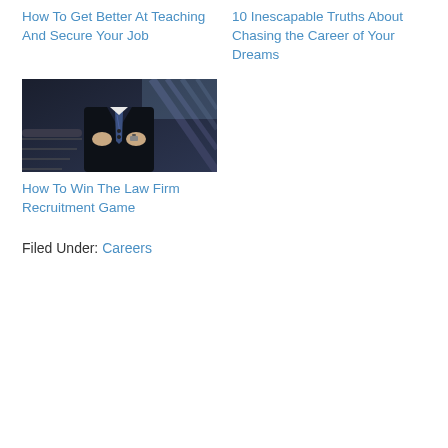How To Get Better At Teaching And Secure Your Job
10 Inescapable Truths About Chasing the Career of Your Dreams
[Figure (photo): Man in dark suit adjusting jacket buttons, escalator in background]
How To Win The Law Firm Recruitment Game
Filed Under: Careers